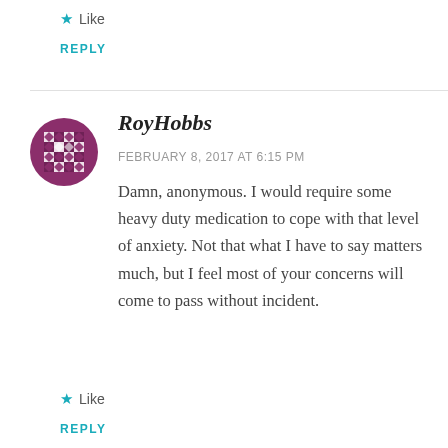Like
REPLY
[Figure (illustration): Purple geometric avatar icon for user RoyHobbs]
RoyHobbs
FEBRUARY 8, 2017 AT 6:15 PM
Damn, anonymous. I would require some heavy duty medication to cope with that level of anxiety. Not that what I have to say matters much, but I feel most of your concerns will come to pass without incident.
Like
REPLY